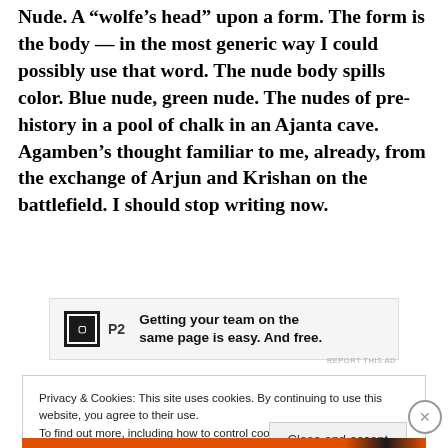Nude. A “wolfe’s head” upon a form. The form is the body — in the most generic way I could possibly use that word. The nude body spills color. Blue nude, green nude. The nudes of pre-history in a pool of chalk in an Ajanta cave. Agamben’s thought familiar to me, already, from the exchange of Arjun and Krishan on the battlefield. I should stop writing now.
[Figure (other): Advertisement banner for P2 service reading: Getting your team on the same page is easy. And free.]
Privacy & Cookies: This site uses cookies. By continuing to use this website, you agree to their use.
To find out more, including how to control cookies, see here: Cookie Policy
Close and accept